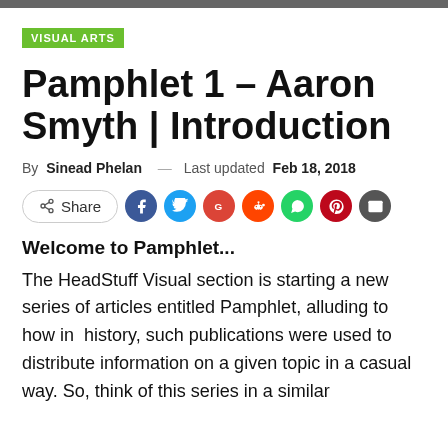VISUAL ARTS
Pamphlet 1 – Aaron Smyth | Introduction
By Sinead Phelan — Last updated Feb 18, 2018
[Figure (other): Social share buttons row: Share button, Facebook, Twitter, Google+, Reddit, WhatsApp, Pinterest, Email]
Welcome to Pamphlet...
The HeadStuff Visual section is starting a new series of articles entitled Pamphlet, alluding to how in  history, such publications were used to distribute information on a given topic in a casual way. So, think of this series in a similar